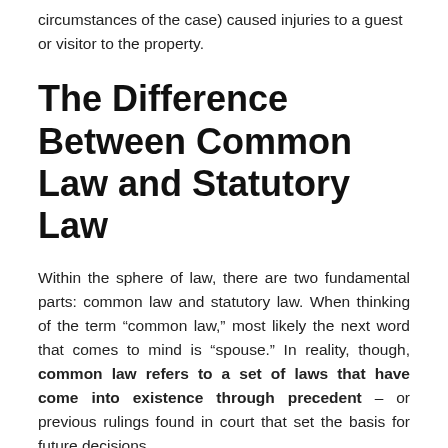circumstances of the case) caused injuries to a guest or visitor to the property.
The Difference Between Common Law and Statutory Law
Within the sphere of law, there are two fundamental parts: common law and statutory law. When thinking of the term “common law,” most likely the next word that comes to mind is “spouse.” In reality, though, common law refers to a set of laws that have come into existence through precedent – or previous rulings found in court that set the basis for future decisions.
With that definition in mind, the term “common law marriage” makes sense. It is not a marriage in an official sense (being without a marriage license) but is